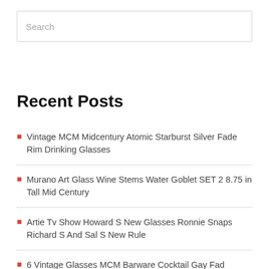Search
Recent Posts
Vintage MCM Midcentury Atomic Starburst Silver Fade Rim Drinking Glasses
Murano Art Glass Wine Stems Water Goblet SET 2 8.75 in Tall Mid Century
Artie Tv Show Howard S New Glasses Ronnie Snaps Richard S And Sal S New Rule
6 Vintage Glasses MCM Barware Cocktail Gay Fad signed